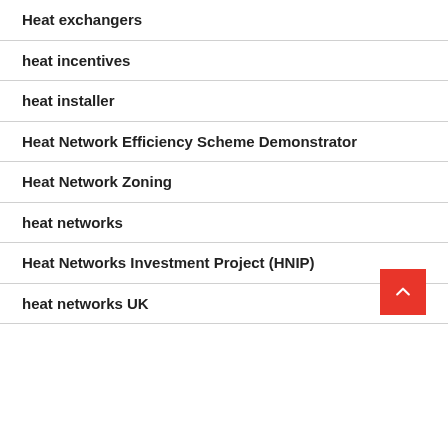Heat exchangers
heat incentives
heat installer
Heat Network Efficiency Scheme Demonstrator
Heat Network Zoning
heat networks
Heat Networks Investment Project (HNIP)
heat networks UK